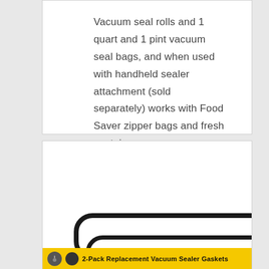Vacuum seal rolls and 1 quart and 1 pint vacuum seal bags, and when used with handheld sealer attachment (sold separately) works with Food Saver zipper bags and fresh containers
[Figure (photo): Product image showing two vacuum sealer gasket strips (long oval/rounded rectangle shapes in black outline on white background) and a yellow banner at the bottom reading '2-Pack Replacement Vacuum Sealer Gaskets']